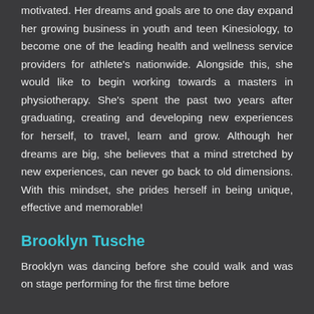motivated. Her dreams and goals are to one day expand her growing business in youth and teen Kinesiology, to become one of the leading health and wellness service providers for athlete's nationwide. Alongside this, she would like to begin working towards a masters in physiotherapy. She's spent the past two years after graduating, creating and developing new experiences for herself, to travel, learn and grow. Although her dreams are big, she believes that a mind stretched by new experiences, can never go back to old dimensions. With this mindset, she prides herself in being unique, effective and memorable!
Brooklyn Tusche
Brooklyn was dancing before she could walk and was on stage performing for the first time before